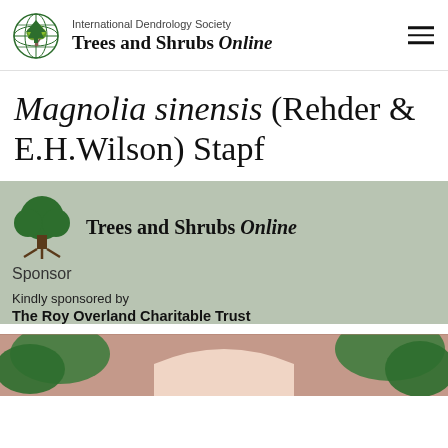International Dendrology Society Trees and Shrubs Online
Magnolia sinensis (Rehder & E.H.Wilson) Stapf
[Figure (illustration): Trees and Shrubs Online sponsor box with tree logo and sponsor text]
Sponsor
Kindly sponsored by The Roy Overland Charitable Trust
[Figure (photo): Photo of a brick arch with foliage/plants around it]